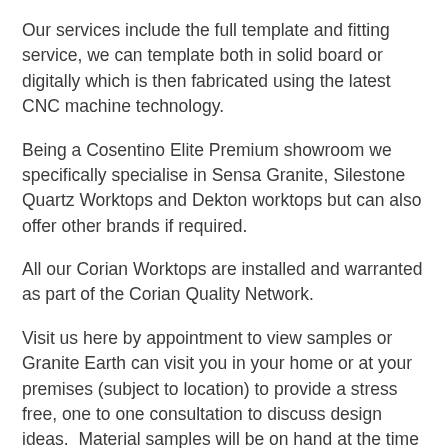Our services include the full template and fitting service, we can template both in solid board or digitally which is then fabricated using the latest CNC machine technology.
Being a Cosentino Elite Premium showroom we specifically specialise in Sensa Granite, Silestone Quartz Worktops and Dekton worktops but can also offer other brands if required.
All our Corian Worktops are installed and warranted as part of the Corian Quality Network.
Visit us here by appointment to view samples or Granite Earth can visit you in your home or at your premises (subject to location) to provide a stress free, one to one consultation to discuss design ideas.  Material samples will be on hand at the time of the visit to assist in your decision process.
To receive a quotation simply email us the following